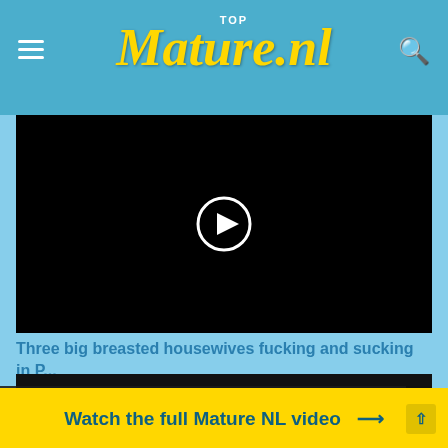TOP Mature.nl
[Figure (screenshot): Black video player with a circular play button in the center]
Three big breasted housewives fucking and sucking in P...
[Figure (screenshot): Second black video player thumbnail]
This site uses cookies. By continuing to browse the site you
Watch the full Mature NL video →